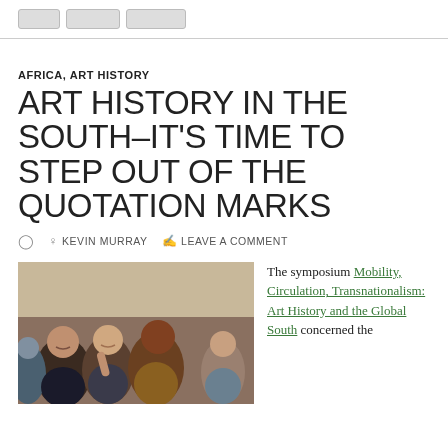AFRICA, ART HISTORY
ART HISTORY IN THE SOUTH–IT'S TIME TO STEP OUT OF THE QUOTATION MARKS
KEVIN MURRAY   LEAVE A COMMENT
[Figure (photo): Group of young people outdoors, smiling and posing for a photo, diverse group including men and women]
The symposium Mobility, Circulation, Transnationalism: Art History and the Global South concerned the